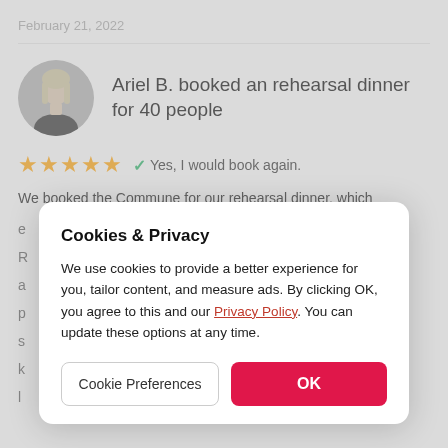February 21, 2022
Ariel B. booked an rehearsal dinner for 40 people
★★★★★  ✓ Yes, I would book again.
We booked the Commune for our rehearsal dinner, which e R a p s k l
Cookies & Privacy
We use cookies to provide a better experience for you, tailor content, and measure ads. By clicking OK, you agree to this and our Privacy Policy. You can update these options at any time.
Cookie Preferences
OK